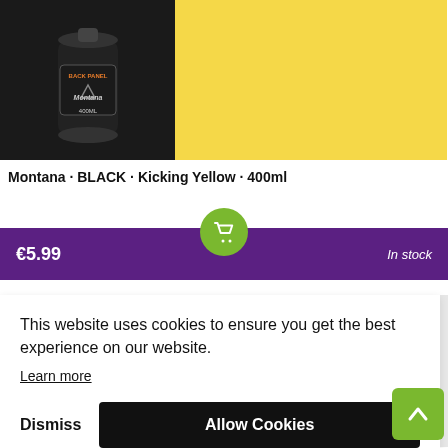[Figure (photo): Product image of Montana BLACK spray can (dark/black can with label, 400ML) on black background on left, and bright yellow color swatch on right]
Montana · BLACK · Kicking Yellow · 400ml
€5.99
In stock
This website uses cookies to ensure you get the best experience on our website.
Learn more
Dismiss
Allow Cookies